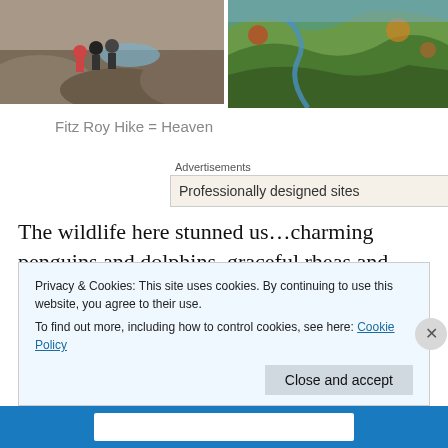[Figure (photo): Two photos side by side: left shows people sitting on rocks near a blue lake/glacier, right shows a winding river through colorful autumn hills]
Fitz Roy Hike = Heaven
Advertisements
[Figure (screenshot): Advertisement banner showing 'Professionally designed sites' with a WordPress-style icon]
The wildlife here stunned us…charming penguins and dolphins, graceful rheas and cuarnacos, tough condors,
Privacy & Cookies: This site uses cookies. By continuing to use this website, you agree to their use.
To find out more, including how to control cookies, see here: Cookie Policy
Close and accept